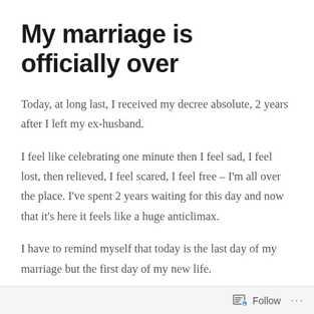My marriage is officially over
Today, at long last, I received my decree absolute, 2 years after I left my ex-husband.
I feel like celebrating one minute then I feel sad, I feel lost, then relieved, I feel scared, I feel free – I'm all over the place. I've spent 2 years waiting for this day and now that it's here it feels like a huge anticlimax.
I have to remind myself that today is the last day of my marriage but the first day of my new life.
Follow ...